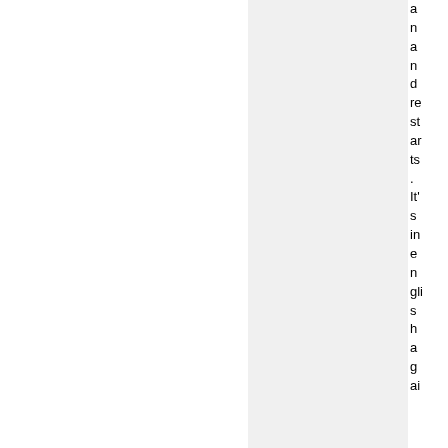and restarts. It's in english again